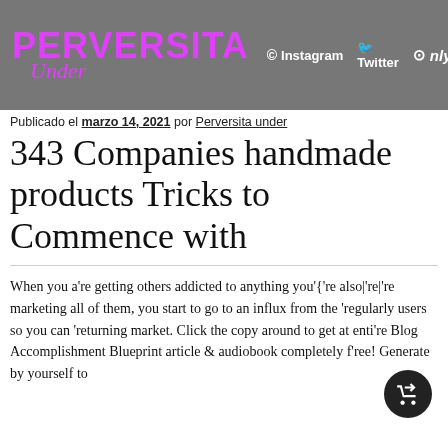PERVERSITA Under | Instagram | Twitter | OnlyFans
Publicado el marzo 14, 2021 por Perversita under
343 Companies handmade products Tricks to Commence with
When you a're getting others addicted to anything you'{'re also|'re|'re marketing all of them, you start to go to an influx from the 'regularly users so you can 'returning market. Click the copy around to get at enti're Blog Accomplishment Blueprint article & audiobook completely f'ree! Generate by yourself to